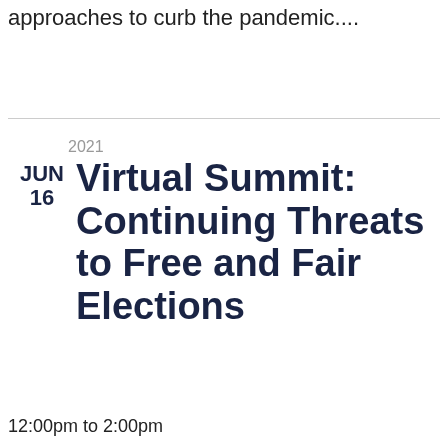approaches to curb the pandemic....
2021
JUN
16
Virtual Summit: Continuing Threats to Free and Fair Elections
12:00pm to 2:00pm